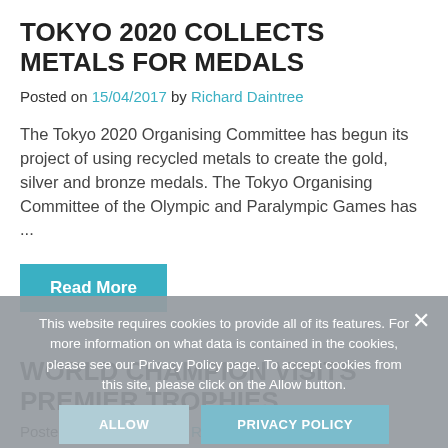TOKYO 2020 COLLECTS METALS FOR MEDALS
Posted on 15/04/2017 by Richard Daintree
The Tokyo 2020 Organising Committee has begun its project of using recycled metals to create the gold, silver and bronze medals. The Tokyo Organising Committee of the Olympic and Paralympic Games has ...
Read More
This website requires cookies to provide all of its features. For more information on what data is contained in the cookies, please see our Privacy Policy page. To accept cookies from this site, please click on the Allow button.
WORLD CHAMPION VISITS PREMIER TROPHIES
Posted on 11/01/2016 by Richard Daintree